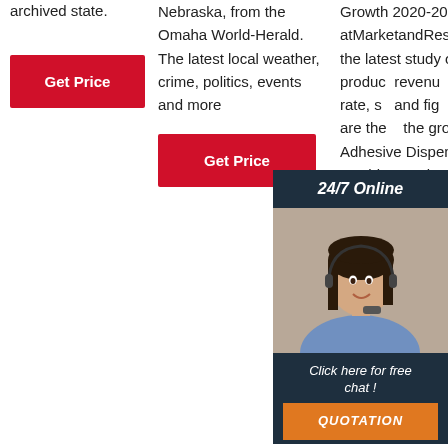archived state.
[Figure (other): Red 'Get Price' button in column 1]
Nebraska, from the Omaha World-Herald. The latest local weather, crime, politics, events and more
[Figure (other): Red 'Get Price' button in column 2]
Growth 2020-2025 available atMarketandResearch.bizpr the latest study on the marke produc revenu opport rate, sa and fig report are the the gro global Adhesive Dispensing Machine market.
[Figure (other): Chat widget overlay with 24/7 Online header, customer service photo, 'Click here for free chat!' text, and QUOTATION button]
[Figure (other): TOP badge with orange dots above]
[Figure (other): Red 'Get Price' button in column 3]